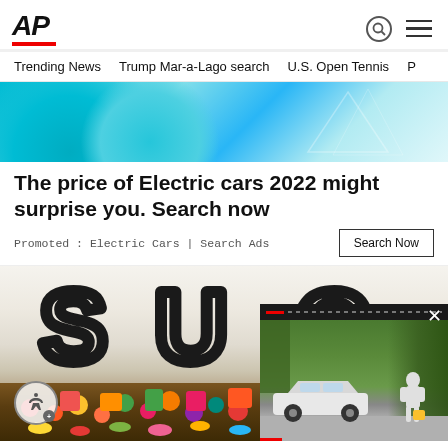AP
Trending News   Trump Mar-a-Lago search   U.S. Open Tennis
[Figure (photo): Abstract cyan/teal decorative header image]
The price of Electric cars 2022 might surprise you. Search now
Promoted : Electric Cars | Search Ads
[Figure (photo): Sugar written in white sugar crystals, with colorful candies below]
[Figure (screenshot): Video overlay showing a person in white protective suit near a white car, with red progress bar and close button]